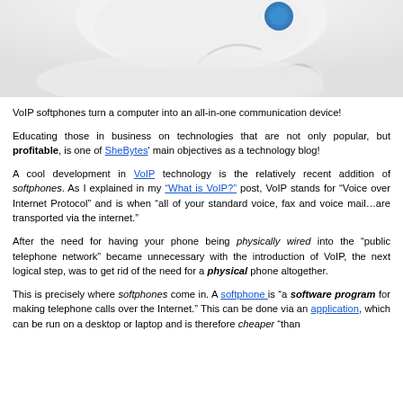[Figure (photo): Partial photo of a VoIP phone or headset device, white/gray with a blue accent, cropped at top of page]
VoIP softphones turn a computer into an all-in-one communication device!
Educating those in business on technologies that are not only popular, but profitable, is one of SheBytes' main objectives as a technology blog!
A cool development in VoIP technology is the relatively recent addition of softphones. As I explained in my "What is VoIP?" post, VoIP stands for "Voice over Internet Protocol" and is when "all of your standard voice, fax and voice mail…are transported via the internet."
After the need for having your phone being physically wired into the "public telephone network" became unnecessary with the introduction of VoIP, the next logical step, was to get rid of the need for a physical phone altogether.
This is precisely where softphones come in. A softphone is "a software program for making telephone calls over the Internet." This can be done via an application, which can be run on a desktop or laptop and is therefore cheaper "than